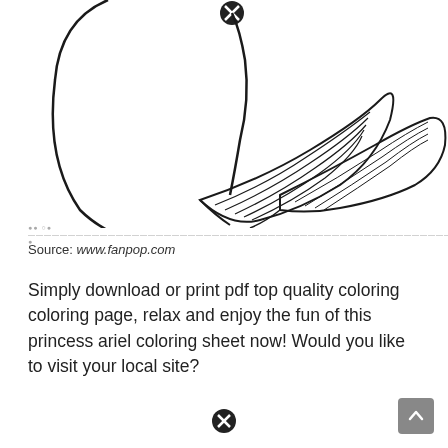[Figure (illustration): Partial view of a mermaid coloring page showing the tail/fin area with leaf-like decorative fins and a circular close button icon in the upper portion. Line art style, black outlines on white.]
Source: www.fanpop.com
Simply download or print pdf top quality coloring coloring page, relax and enjoy the fun of this princess ariel coloring sheet now! Would you like to visit your local site?